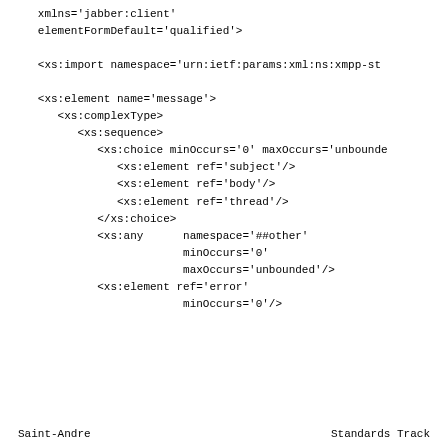xmlns='jabber:client'
   elementFormDefault='qualified'>

<xs:import namespace='urn:ietf:params:xml:ns:xmpp-st

<xs:element name='message'>
   <xs:complexType>
      <xs:sequence>
         <xs:choice minOccurs='0' maxOccurs='unbounde
            <xs:element ref='subject'/>
            <xs:element ref='body'/>
            <xs:element ref='thread'/>
         </xs:choice>
         <xs:any      namespace='##other'
                      minOccurs='0'
                      maxOccurs='unbounded'/>
         <xs:element ref='error'
                      minOccurs='0'/>
Saint-Andre                     Standards Track